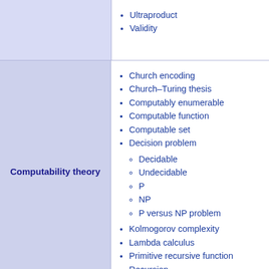Ultraproduct
Validity
Computability theory
Church encoding
Church–Turing thesis
Computably enumerable
Computable function
Computable set
Decision problem
Decidable
Undecidable
P
NP
P versus NP problem
Kolmogorov complexity
Lambda calculus
Primitive recursive function
Recursion